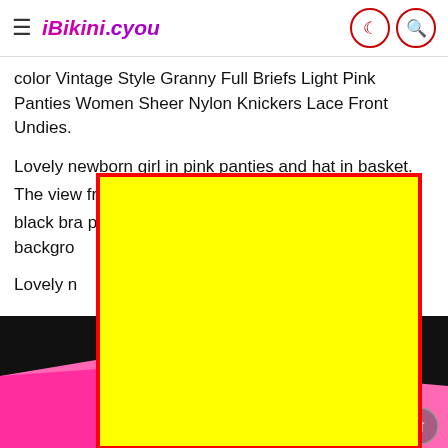iBikini.cyou
color Vintage Style Granny Full Briefs Light Pink Panties Women Sheer Nylon Knickers Lace Front Undies.
Lovely newborn girl in pink panties and hat in basket. The view from the top. [close] nage girl wearing a black bra pink panties and showing a tattoo on black backgro...
Lovely n... toy.
[Figure (photo): Bottom portion of page showing a black background with pink fabric/clothing visible at the bottom, partially obscured by a large yellow rectangle with red border overlay and a close button pill.]